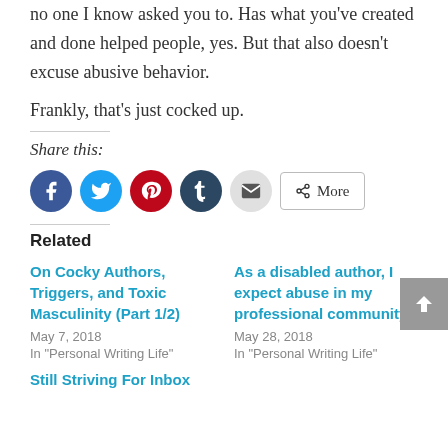no one I know asked you to. Has what you've created and done helped people, yes. But that also doesn't excuse abusive behavior.
Frankly, that's just cocked up.
Share this:
[Figure (infographic): Social sharing buttons: Facebook (blue circle), Twitter (light blue circle), Pinterest (red circle), Tumblr (dark blue circle), Email (gray circle), More button]
Related
On Cocky Authors, Triggers, and Toxic Masculinity (Part 1/2)
May 7, 2018
In "Personal Writing Life"
As a disabled author, I expect abuse in my professional community
May 28, 2018
In "Personal Writing Life"
Still Striving For Inbox